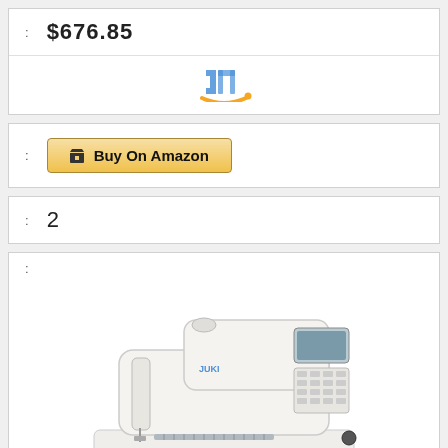: $676.85
[Figure (logo): Amazon logo (stylized 'a' with arrow, blue and orange colors)]
: Buy On Amazon
: 2
:
[Figure (photo): JUKI Exceed HZL-F600 computerized sewing machine, white colored, with digital display panel and multiple stitch selectors, shown on white background]